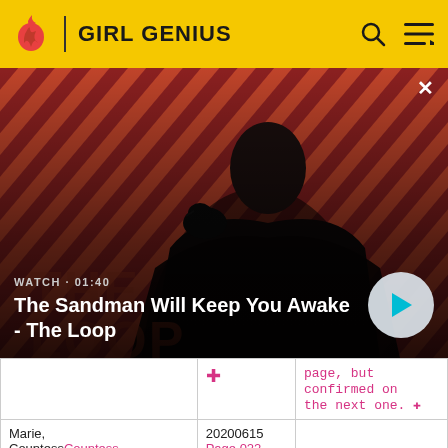GIRL GENIUS
[Figure (screenshot): Video thumbnail showing a person in dark clothing with a raven on shoulder against a red diagonal striped background. Shows WATCH • 01:40 and title The Sandman Will Keep You Awake - The Loop with a play button.]
|  |  | page, but confirmed on the next one. ✦ |
| Marie, CountessCountess Marie | 20200615
Page 022
✦ |  |